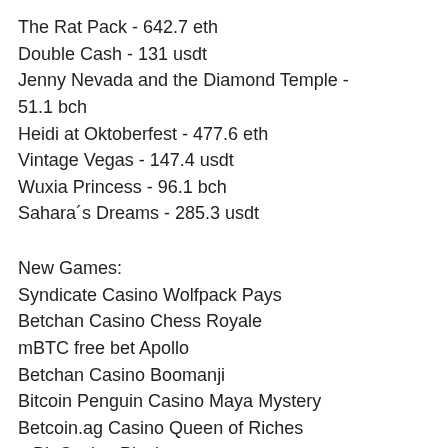The Rat Pack - 642.7 eth
Double Cash - 131 usdt
Jenny Nevada and the Diamond Temple - 51.1 bch
Heidi at Oktoberfest - 477.6 eth
Vintage Vegas - 147.4 usdt
Wuxia Princess - 96.1 bch
Sahara´s Dreams - 285.3 usdt
New Games:
Syndicate Casino Wolfpack Pays
Betchan Casino Chess Royale
mBTC free bet Apollo
Betchan Casino Boomanji
Bitcoin Penguin Casino Maya Mystery
Betcoin.ag Casino Queen of Riches
mBit Casino Playboy
BitStarz Casino Fancy Fruits Red Hot Firepot
CryptoGames Big Blox